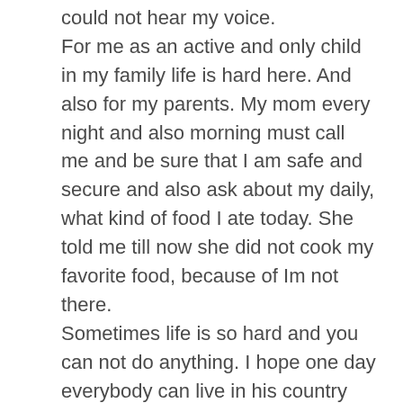could not hear my voice. For me as an active and only child in my family life is hard here. And also for my parents. My mom every night and also morning must call me and be sure that I am safe and secure and also ask about my daily, what kind of food I ate today. She told me till now she did not cook my favorite food, because of Im not there. Sometimes life is so hard and you can not do anything. I hope one day everybody can live in his country without any fear or danger. I'm counting day by day that regime in my country change and I can come back to my lovely room and country. My mother said still my bed as the same and no change anything in my room because it has the smell of my son. I know its painful for a mother that can not see her only child and I've also missed him every day. Sometimes at night in my sleep I think in